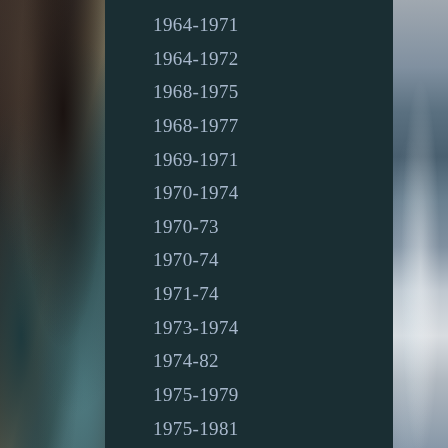[Figure (photo): Left side: rocky coastal cliff with dark rock formations against a dark background]
1964-1971
1964-1972
1968-1975
1968-1977
1969-1971
1970-1974
1970-73
1970-74
1971-74
1973-1974
1974-82
1975-1979
1975-1981
1978-1982
1978-82
1984-1987
1984-1989
1985-1996
[Figure (photo): Right side: ocean waves crashing with sea foam, light sky in background]